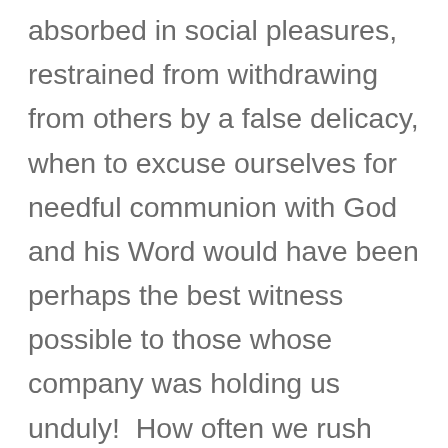absorbed in social pleasures, restrained from withdrawing from others by a false delicacy, when to excuse ourselves for needful communion with God and his Word would have been perhaps the best witness possible to those whose company was holding us unduly!  How often we rush from one public engagement to another without any proper interval for renewing our strength in waiting on the Lord.